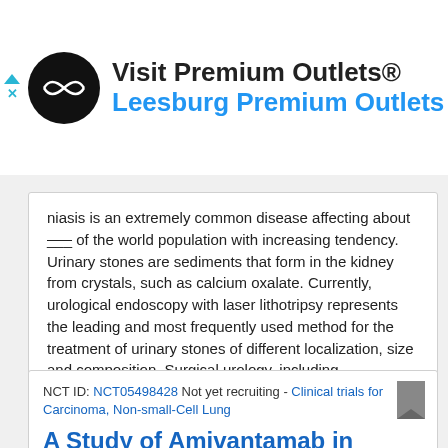[Figure (other): Advertisement banner for Visit Premium Outlets® / Leesburg Premium Outlets with circular logo, navigation diamond icon, and small ad disclosure arrows.]
niasis is an extremely common disease affecting about ... of the world population with increasing tendency. Urinary stones are sediments that form in the kidney from crystals, such as calcium oxalate. Currently, urological endoscopy with laser lithotripsy represents the leading and most frequently used method for the treatment of urinary stones of different localization, size and composition. Surgical urology, including interventional stone treatment, is highly influenced by technology. With regard to fragmentation properties and
Read more »
NCT ID: NCT05498428 Not yet recruiting - Clinical trials for Carcinoma, Non-small-Cell Lung
A Study of Amivantamab in Participants With Advanced or